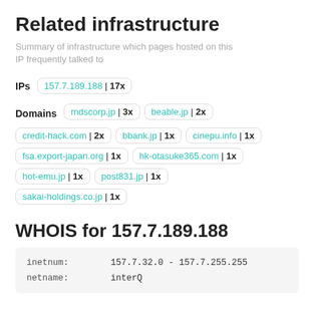Related infrastructure
Summary of infrastructure which pages hosted on this IP frequently talked to
IPs  157.7.189.188 | 17x
Domains  mdscorp.jp | 3x    beable.jp | 2x    credit-hack.com | 2x    bbank.jp | 1x    cinepu.info | 1x    fsa.export-japan.org | 1x    hk-otasuke365.com | 1x    hot-emu.jp | 1x    post831.jp | 1x    sakai-holdings.co.jp | 1x
WHOIS for 157.7.189.188
| key | value |
| --- | --- |
| inetnum: | 157.7.32.0 - 157.7.255.255 |
| netname: | interQ |